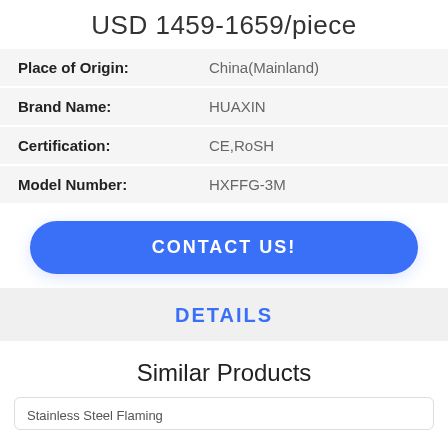USD 1459-1659/piece
| Place of Origin: | China(Mainland) |
| Brand Name: | HUAXIN |
| Certification: | CE,RoSH |
| Model Number: | HXFFG-3M |
CONTACT US!
DETAILS
Similar Products
Stainless Steel Flaming